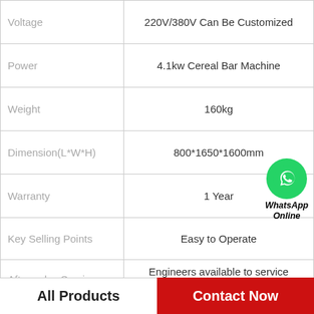|  |  |
| --- | --- |
| Voltage | 220V/380V Can Be Customized |
| Power | 4.1kw Cereal Bar Machine |
| Weight | 160kg |
| Dimension(L*W*H) | 800*1650*1600mm |
| Warranty | 1 Year |
| Key Selling Points | Easy to Operate |
| After-sales Service Provided | Engineers available to service machinery overseas, Video technical support |
|  |  |
[Figure (logo): WhatsApp Online badge with green phone icon circle and bold italic text 'WhatsApp Online']
All Products   Contact Now